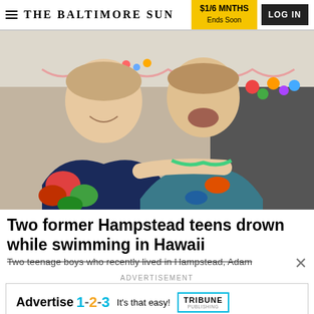THE BALTIMORE SUN | $1/6 MNTHS Ends Soon | LOG IN
[Figure (photo): Two smiling teenage boys at a party with colorful flower garlands in the background; one wears a floral shirt.]
Two former Hampstead teens drown while swimming in Hawaii
Two teenage boys who recently lived in Hampstead, Adam
ADVERTISEMENT
[Figure (infographic): Tribune Publishing advertisement: 'Advertise 1-2-3 It's that easy!' with Tribune Publishing logo box.]